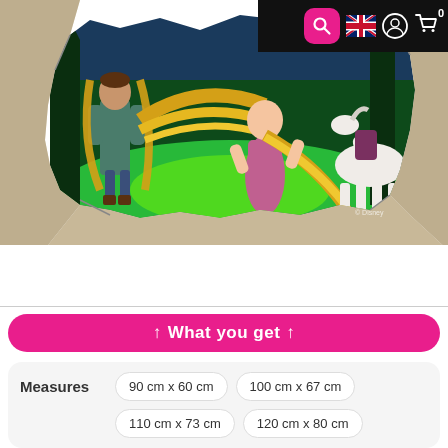[Figure (screenshot): Disney Tangled (Rapunzel) 3D wall sticker product image showing characters Flynn Rider, Rapunzel with long golden hair, and a white horse breaking through a cracked wall, set against a green forest background]
Search | UK flag | User icon | Cart (0)
↑ What you get ↑
Measures
90 cm x 60 cm
100 cm x 67 cm
110 cm x 73 cm
120 cm x 80 cm